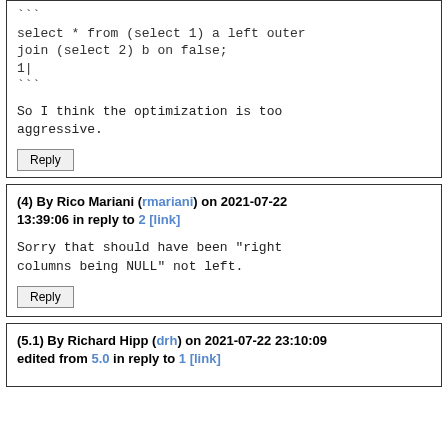``` select * from (select 1) a left outer join (select 2) b on false; 1| ``` So I think the optimization is too aggressive.
Reply
(4) By Rico Mariani (rmariani) on 2021-07-22 13:39:06 in reply to 2 [link]
Sorry that should have been "right columns being NULL" not left.
Reply
(5.1) By Richard Hipp (drh) on 2021-07-22 23:10:09 edited from 5.0 in reply to 1 [link]